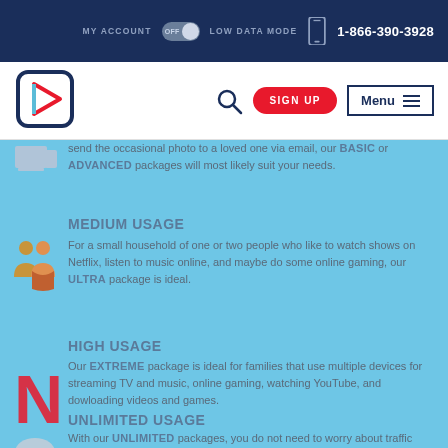MY ACCOUNT   OFF   LOW DATA MODE   1-866-390-3928
[Figure (logo): Primus play button logo in red, blue, and dark navy]
send the occasional photo to a loved one via email, our BASIC or ADVANCED packages will most likely suit your needs.
MEDIUM USAGE
For a small household of one or two people who like to watch shows on Netflix, listen to music online, and maybe do some online gaming, our ULTRA package is ideal.
HIGH USAGE
Our EXTREME package is ideal for families that use multiple devices for streaming TV and music, online gaming, watching YouTube, and dowloading videos and games.
UNLIMITED USAGE
With our UNLIMITED packages, you do not need to worry about traffic limits. You have